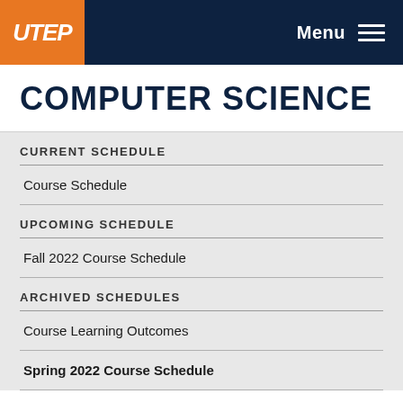UTEP — Menu
COMPUTER SCIENCE
CURRENT SCHEDULE
Course Schedule
UPCOMING SCHEDULE
Fall 2022 Course Schedule
ARCHIVED SCHEDULES
Course Learning Outcomes
Spring 2022 Course Schedule